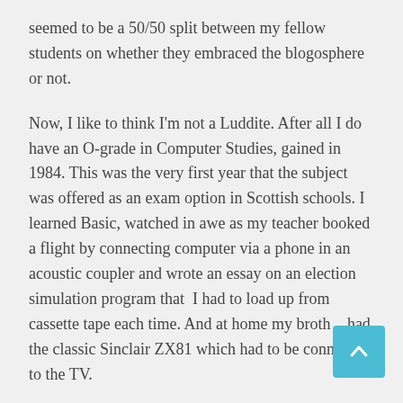seemed to be a 50/50 split between my fellow students on whether they embraced the blogosphere or not.
Now, I like to think I'm not a Luddite. After all I do have an O-grade in Computer Studies, gained in 1984. This was the very first year that the subject was offered as an exam option in Scottish schools. I learned Basic, watched in awe as my teacher booked a flight by connecting computer via a phone in an acoustic coupler and wrote an essay on an election simulation program that I had to load up from cassette tape each time. And at home my brother had the classic Sinclair ZX81 which had to be connected to the TV.
[Figure (other): Scroll-to-top button: a teal/cyan square with an upward-pointing white arrow]